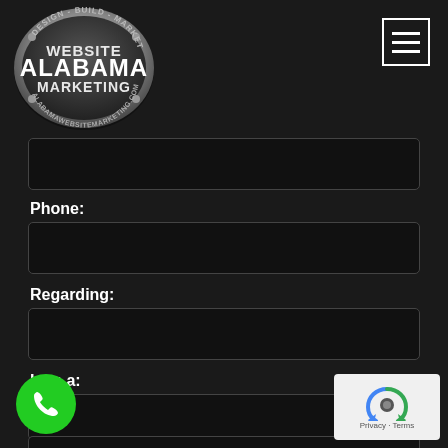[Figure (logo): Alabama Website Marketing oval logo with text DESIGN - BUILD - MARKET, WEBSITE ALABAMA MARKETING, ALABAMAWEBSITEMARKETING.COM]
[Figure (other): Hamburger menu icon (three horizontal lines) in a white outlined square, top right corner]
Phone:
Regarding:
I am a:
Message:
[Figure (other): Green circular phone call button, bottom left]
[Figure (other): reCAPTCHA widget showing robot icon, Privacy and Terms text, bottom right]